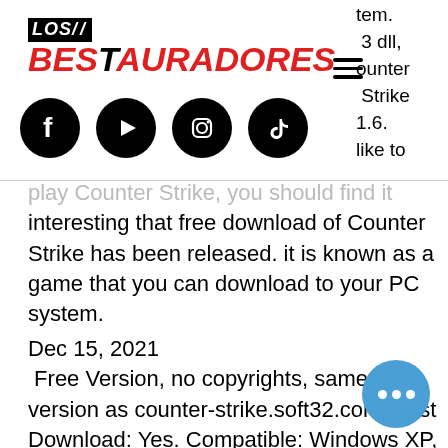[Figure (logo): Los Bestauradores logo with LOS in black box and BESTAURADORES in red italic text]
[Figure (infographic): Four social media icons: Facebook, YouTube, Instagram, TikTok in black circles; hamburger menu icon; partial right-side text reading: tem. 3 dll, ounter Strike 1.6. like to]
play Counter Strike, you should find it interesting that free download of Counter Strike has been released. it is known as a game that you can download to your PC system.
Dec 15, 2021
Free Version, no copyrights, same version as counter-strike.soft32.com. Fast Download: Yes. Compatible: Windows XP, Windows 7, Windows Vista .
Mar 4, 2021
Free Version, no copyrights, same version as counter-strike.soft32.com. Fast Download: Yes. Compatible: Windows, Windows 7, Windows Vista .
Free Download Counter Strike 1.8